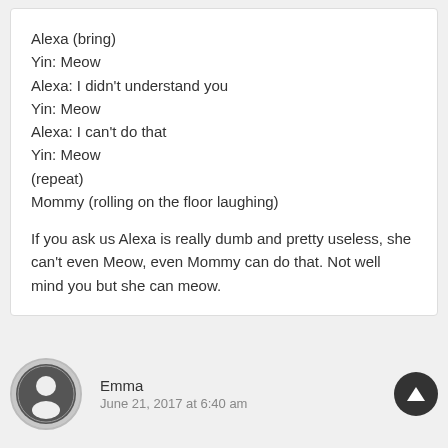Alexa (bring)
Yin: Meow
Alexa: I didn't understand you
Yin: Meow
Alexa: I can't do that
Yin: Meow
(repeat)
Mommy (rolling on the floor laughing)

If you ask us Alexa is really dumb and pretty useless, she can't even Meow, even Mommy can do that. Not well mind you but she can meow.
Emma
June 21, 2017 at 6:40 am